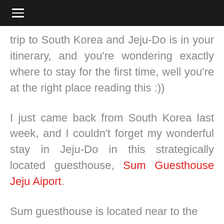☰
trip to South Korea and Jeju-Do is in your itinerary, and you're wondering exactly where to stay for the first time, well you're at the right place reading this :))
I just came back from South Korea last week, and I couldn't forget my wonderful stay in Jeju-Do in this strategically located guesthouse, Sum Guesthouse Jeju Aiport.
Sum guesthouse is located near to the